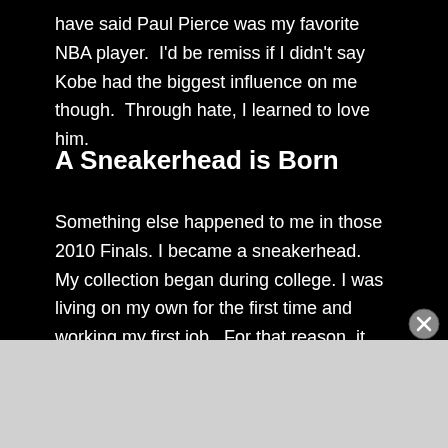have said Paul Pierce was my favorite NBA player.  I'd be remiss if I didn't say Kobe had the biggest influence on me though.  Through hate, I learned to love him.
A Sneakerhead is Born
Something else happened to me in those 2010 Finals. I became a sneakerhead. My collection began during college. I was living on my own for the first time and working my first job.  For that reason, it was hard to say no to a new pair of sneakers. As Kobe ran that ball down in the final seconds that June day, I looked at his feet and saw his Nike “Big Stage” Kobe V’s. They were beautiful.  I could see the gold swoosh shining bright as the confetti dropped around
Advertisements
REPORT THIS AD